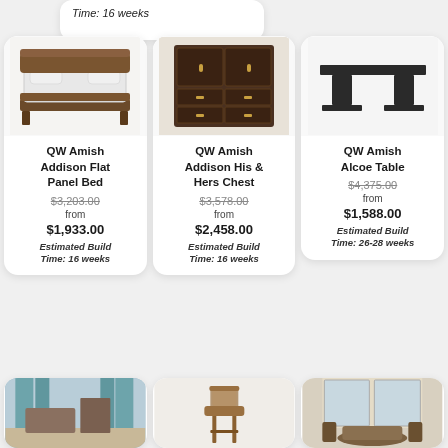Time: 16 weeks
[Figure (photo): QW Amish Addison Flat Panel Bed - dark wood bed frame with white bedding]
QW Amish Addison Flat Panel Bed
$3,203.00
from
$1,933.00
Estimated Build Time: 16 weeks
[Figure (photo): QW Amish Addison His & Hers Chest - dark brown armoire/chest with drawers and cabinet doors]
QW Amish Addison His & Hers Chest
$3,578.00
from
$2,458.00
Estimated Build Time: 16 weeks
[Figure (photo): QW Amish Alcoe Table - dark rectangular dining table with pedestal bases]
QW Amish Alcoe Table
$4,375.00
from
$1,588.00
Estimated Build Time: 26-28 weeks
[Figure (photo): Room interior with teal curtains and furniture]
[Figure (photo): Wooden bar stool with back]
[Figure (photo): Dining room interior with chairs around a table]